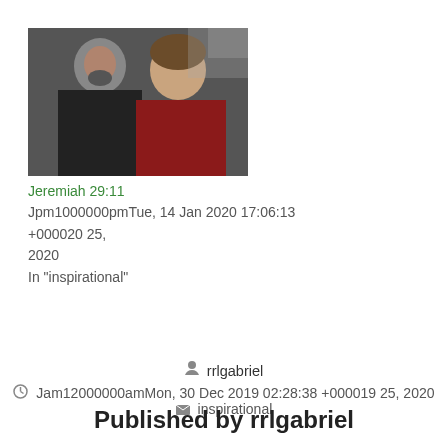[Figure (photo): A man in a dark jacket and a woman in a red coat, both smiling, portrait photo]
Jeremiah 29:11
Jpm1000000pmTue, 14 Jan 2020 17:06:13 +000020 25, 2020
In "inspirational"
rrlgabriel
Jam12000000amMon, 30 Dec 2019 02:28:38 +000019 25, 2020
inspirational
Published by rrlgabriel